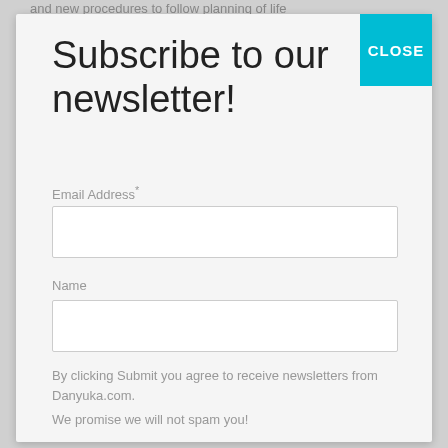and new procedures to follow planning of life
Subscribe to our newsletter!
Email Address*
Name
By clicking Submit you agree to receive newsletters from Danyuka.com.
We promise we will not spam you!
Subscribe